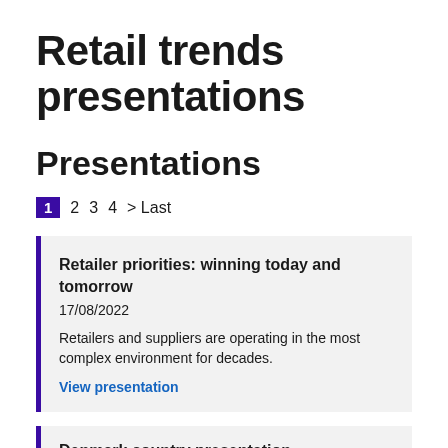Retail trends presentations
Presentations
1 2 3 4 > Last
Retailer priorities: winning today and tomorrow
17/08/2022
Retailers and suppliers are operating in the most complex environment for decades.
View presentation
Denmark country presentation